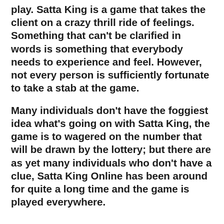play. Satta King is a game that takes the client on a crazy thrill ride of feelings. Something that can't be clarified in words is something that everybody needs to experience and feel. However, not every person is sufficiently fortunate to take a stab at the game.
Many individuals don't have the foggiest idea what's going on with Satta King, the game is to wagered on the number that will be drawn by the lottery; but there are as yet many individuals who don't have a clue, Satta King Online has been around for quite a long time and the game is played everywhere.